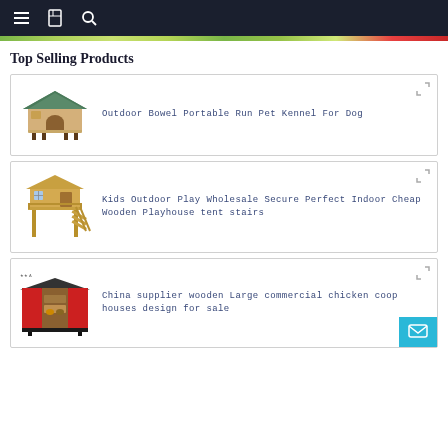Navigation bar with menu, bookmark, and search icons
Top Selling Products
[Figure (photo): Wooden outdoor dog kennel with green roof and black feet]
Outdoor Bowel Portable Run Pet Kennel For Dog
[Figure (photo): Kids wooden elevated playhouse with stairs and balcony]
Kids Outdoor Play Wholesale Secure Perfect Indoor Cheap Wooden Playhouse tent stairs
[Figure (photo): China supplier wooden large commercial chicken coop with red doors open showing interior]
China supplier wooden Large commercial chicken coop houses design for sale